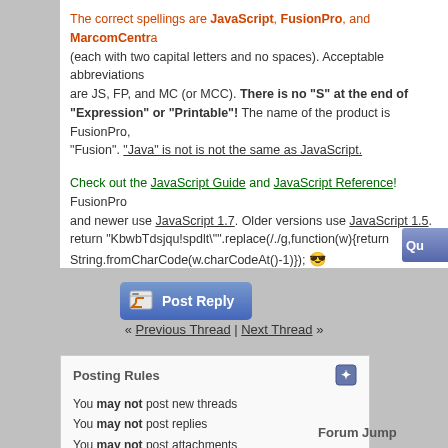The correct spellings are JavaScript, FusionPro, and MarcomCentral (each with two capital letters and no spaces). Acceptable abbreviations are JS, FP, and MC (or MCC). There is no "S" at the end of "Expression" or "Printable"! The name of the product is FusionPro, not "Fusion". "Java" is not is not the same as JavaScript.
Check out the JavaScript Guide and JavaScript Reference! FusionPro and newer use JavaScript 1.7. Older versions use JavaScript 1.5.
return "KbwbTdsjqu!spdlt"".replace(/./g,function(w){return String.fromCharCode(w.charCodeAt()-1)});
Post Reply
« Previous Thread | Next Thread »
Posting Rules
You may not post new threads
You may not post replies
You may not post attachments
You may not edit your posts
BB code is On
Smilies are On
[IMG] code is On
HTML code is Off
Forum Jump